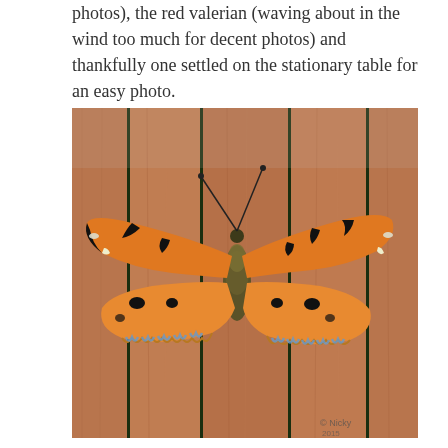photos), the red valerian (waving about in the wind too much for decent photos) and thankfully one settled on the stationary table for an easy photo.
[Figure (photo): A small tortoiseshell butterfly (Aglais urticae) with wings spread open, resting on a wooden slatted table. The butterfly displays vivid orange wings with black and white markings and scalloped blue-edged wing borders. The wooden slats are reddish-brown with dark gaps between them. A photographer's watermark is visible in the lower right corner.]